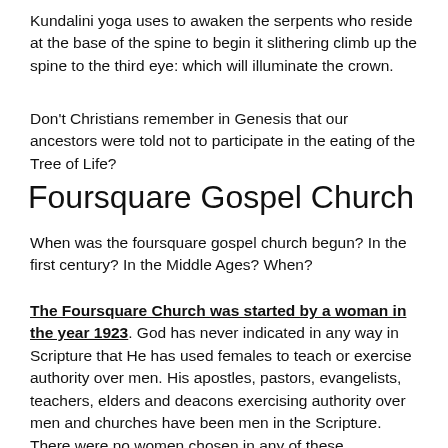Kundalini yoga uses to awaken the serpents who reside at the base of the spine to begin it slithering climb up the spine to the third eye: which will illuminate the crown.
Don't Christians remember in Genesis that our ancestors were told not to participate in the eating of the Tree of Life?
Foursquare Gospel Church
When was the foursquare gospel church begun?  In the first century?  In the Middle Ages?   When?
The Foursquare Church was started by a woman in the year 1923. God has never indicated in any way in Scripture that He has used females to teach or exercise authority over men.  His apostles, pastors, evangelists, teachers, elders and deacons exercising authority over men and churches have been men in the Scripture.  There were no women chosen in any of these categories; absolutely none.  None were qualified. Why did not the LORD appoint a female apostle?  All twelve, and later thirteen, were all males.